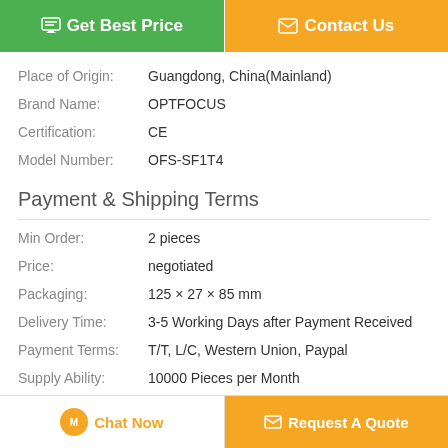Get Best Price | Contact Us
Place of Origin: Guangdong, China(Mainland)
Brand Name: OPTFOCUS
Certification: CE
Model Number: OFS-SF1T4
Payment & Shipping Terms
Min Order: 2 pieces
Price: negotiated
Packaging: 125 × 27 × 85 mm
Delivery Time: 3-5 Working Days after Payment Received
Payment Terms: T/T, L/C, Western Union, Paypal
Supply Ability: 10000 Pieces per Month
Description
Chat Now | Request A Quote